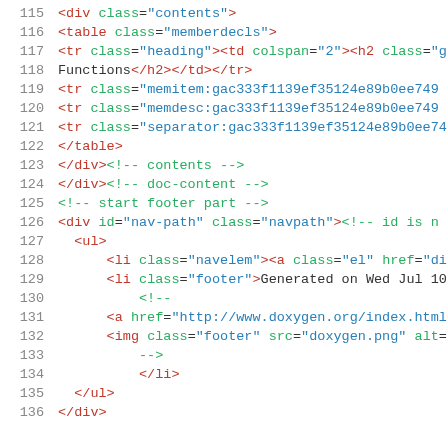[Figure (screenshot): Source code viewer showing HTML/XML code lines 115 through 136, with syntax highlighting: line numbers in gray, tag names in dark red, attribute names in green, attribute values in blue, comments in green, plain text in dark gray.]